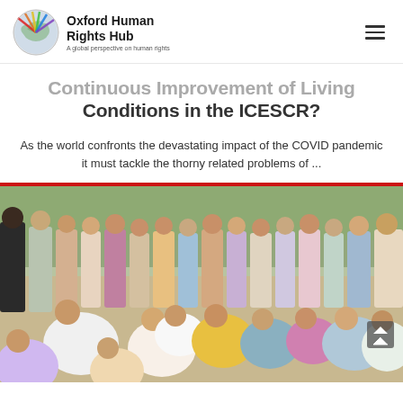Oxford Human Rights Hub — A global perspective on human rights
Continuous Improvement of Living Conditions in the ICESCR?
As the world confronts the devastating impact of the COVID pandemic it must tackle the thorny related problems of ...
[Figure (photo): A group of women and a few men seated outdoors in a community meeting or gathering setting, under trees, in India. A person in white is speaking/gesturing to the group.]